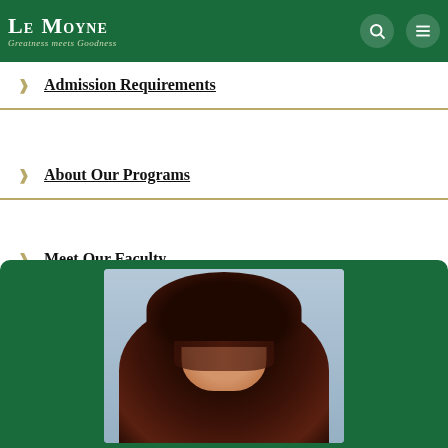Le Moyne — Greatness meets Goodness
Admission Requirements
About Our Programs
Meet Our Faculty
[Figure (photo): Faculty member headshot photo on blue background, shown from shoulders up with dark hair, displayed inside a green rounded card at the bottom of the page]